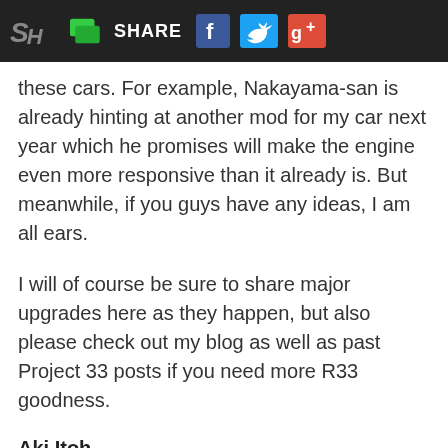SH | SHARE [Facebook] [Twitter] [Google+]
these cars.  For example, Nakayama-san is already hinting at another mod for my car next year which he promises will make the engine even more responsive than it already is. But meanwhile, if you guys have any ideas, I am all ears.
I will of course be sure to share major upgrades here as they happen, but also please check out my blog as well as past Project 33 posts if you need more R33 goodness.
Aki Itoh
Instagram: aki_itoh